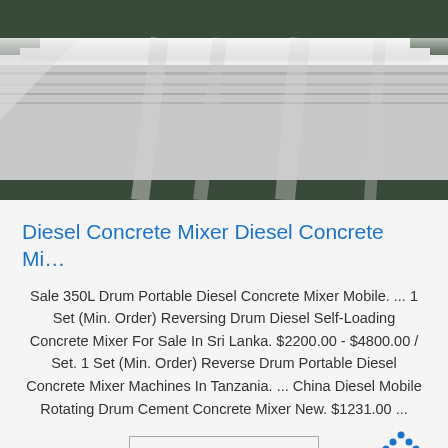[Figure (photo): Stack of metal sheets or plates, grayish-white, viewed from front at slight angle, on dark background]
Diesel Concrete Mixer Diesel Concrete Mi…
Sale 350L Drum Portable Diesel Concrete Mixer Mobile. ... 1 Set (Min. Order) Reversing Drum Diesel Self-Loading Concrete Mixer For Sale In Sri Lanka. $2200.00 - $4800.00 / Set. 1 Set (Min. Order) Reverse Drum Portable Diesel Concrete Mixer Machines In Tanzania. ... China Diesel Mobile Rotating Drum Cement Concrete Mixer New. $1231.00 ...
Get Price
[Figure (photo): Industrial warehouse interior with heavy overhead crane structure, warm brown/orange tones]
[Figure (logo): TOP logo with dotted triangle above the word TOP in blue]